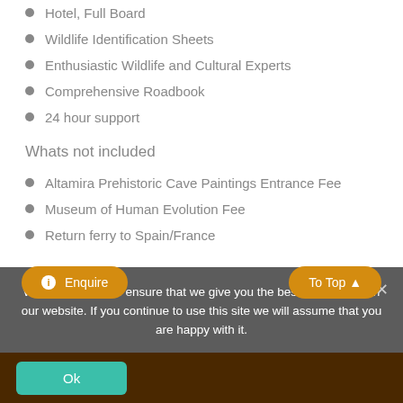Hotel, Full Board
Wildlife Identification Sheets
Enthusiastic Wildlife and Cultural Experts
Comprehensive Roadbook
24 hour support
Whats not included
Altamira Prehistoric Cave Paintings Entrance Fee
Museum of Human Evolution Fee
Return ferry to Spain/France
We use cookies to ensure that we give you the best experience on our website. If you continue to use this site we will assume that you are happy with it.